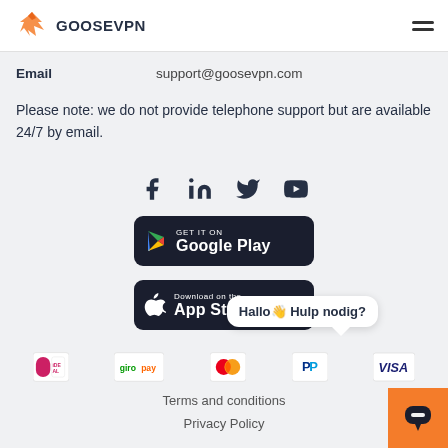GOOSE VPN
| Email | support@goosevpn.com |
| --- | --- |
Please note: we do not provide telephone support but are available 24/7 by email.
[Figure (logo): Social media icons: Facebook, LinkedIn, Twitter, YouTube]
[Figure (screenshot): Get it on Google Play button]
[Figure (screenshot): Download on the App Store button]
Hallo👋 Hulp nodig?
[Figure (logo): Payment icons: iDEAL, Giropay, Mastercard, PayPal, Visa]
Terms and conditions
Privacy Policy